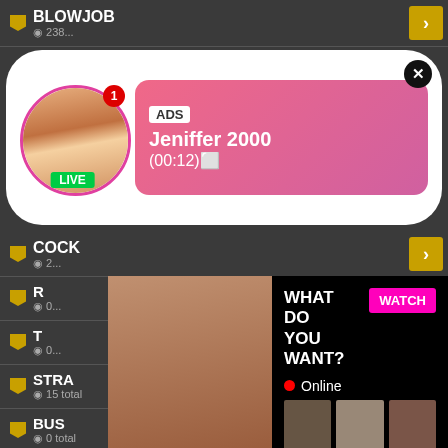BLOWJOB
238...
[Figure (screenshot): Ad popup notification with woman photo, LIVE badge, ADS label, name Jeniffer 2000, time (00:12)]
COCK
2...
[Figure (screenshot): Adult ad popup: WHAT DO YOU WANT? WATCH button, Online indicator, thumbnails, text: Cumming, ass fucking, squirt or... ADS]
STRA
15 total
[Figure (screenshot): Tech product ad: 500W, Early Bird 32% OFF, Save Now button]
BUS
0 total
SLEE
0 total